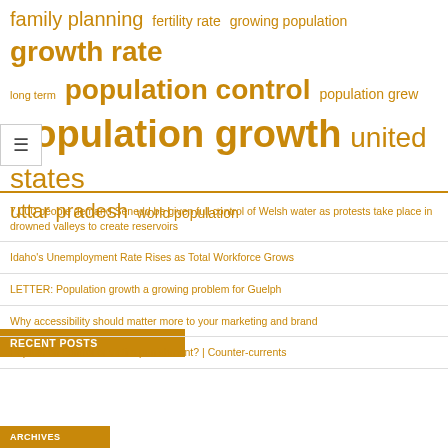[Figure (infographic): Tag cloud with population-related terms in golden/amber color, varying font sizes indicating frequency/importance. Terms include: family planning, fertility rate, growing population, growth rate, long term, population control, population grew, population growth, united states, uttar pradesh, world population]
RECENT POSTS
7,000 people demand Senedd be given full control of Welsh water as protests take place in drowned valleys to create reservoirs
Idaho's Unemployment Rate Rises as Total Workforce Grows
LETTER: Population growth a growing problem for Guelph
Why accessibility should matter more to your marketing and brand
Population control or victim punishment? | Counter-currents